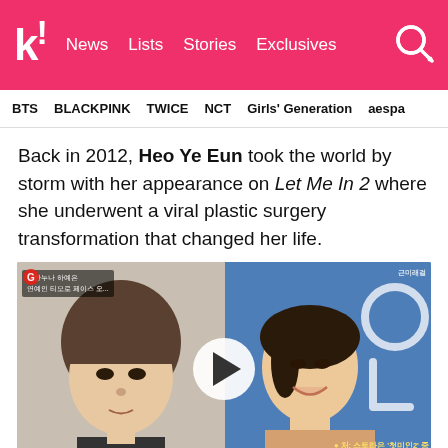k! News Lists Stories Exclusives
BTS BLACKPINK TWICE NCT Girls' Generation aespa
Back in 2012, Heo Ye Eun took the world by storm with her appearance on Let Me In 2 where she underwent a viral plastic surgery transformation that changed her life.
[Figure (photo): Before and after comparison video thumbnail showing Heo Ye Eun before plastic surgery (left, bowl cut hair, plain background with Korean text overlay) and after (right, smiling at event, blue background). A play button is centered over the image. Korean text captions at corners.]